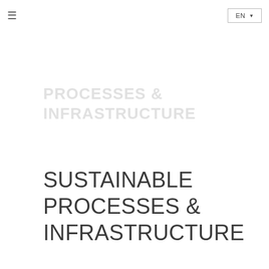≡   EN ▼
PROCESSES & INFRASTRUCTURE
SUSTAINABLE PROCESSES & INFRASTRUCTURE